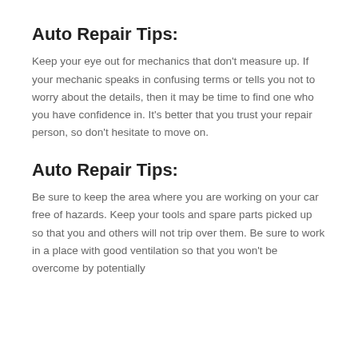Auto Repair Tips:
Keep your eye out for mechanics that don't measure up. If your mechanic speaks in confusing terms or tells you not to worry about the details, then it may be time to find one who you have confidence in. It's better that you trust your repair person, so don't hesitate to move on.
Auto Repair Tips:
Be sure to keep the area where you are working on your car free of hazards. Keep your tools and spare parts picked up so that you and others will not trip over them. Be sure to work in a place with good ventilation so that you won't be overcome by potentially toxic fumes. Have a bag of sand or some cat litter around to clean up spills quickly.